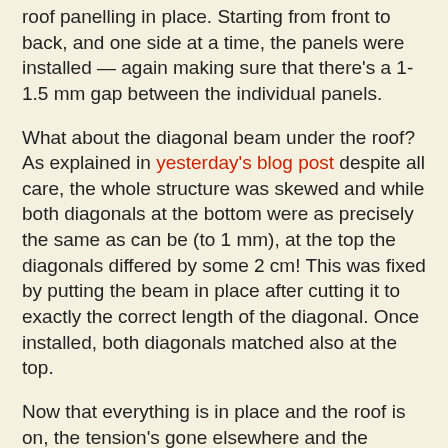roof panelling in place. Starting from front to back, and one side at a time, the panels were installed — again making sure that there's a 1-1.5 mm gap between the individual panels.
What about the diagonal beam under the roof? As explained in yesterday's blog post despite all care, the whole structure was skewed and while both diagonals at the bottom were as precisely the same as can be (to 1 mm), at the top the diagonals differed by some 2 cm! This was fixed by putting the beam in place after cutting it to exactly the correct length of the diagonal. Once installed, both diagonals matched also at the top.
Now that everything is in place and the roof is on, the tension's gone elsewhere and the diagonal beam is lying loose without any pressure on it, secured by a few nails.
[Figure (photo): Outdoor photo of a wooden structure under construction with tall pine trees in the background and a blue sky]